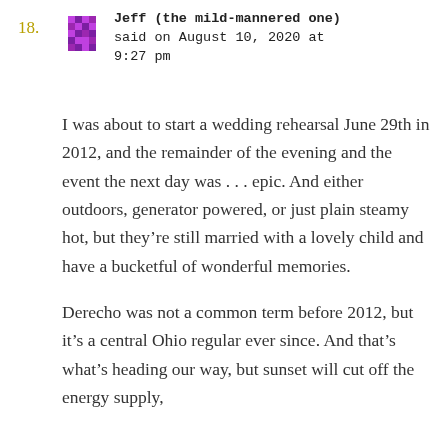18. Jeff (the mild-mannered one) said on August 10, 2020 at 9:27 pm
I was about to start a wedding rehearsal June 29th in 2012, and the remainder of the evening and the event the next day was . . . epic. And either outdoors, generator powered, or just plain steamy hot, but they’re still married with a lovely child and have a bucketful of wonderful memories.
Derecho was not a common term before 2012, but it’s a central Ohio regular ever since. And that’s what’s heading our way, but sunset will cut off the energy supply,